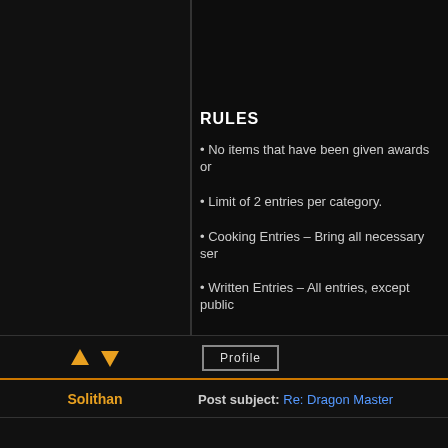RULES
• No items that have been given awards or
• Limit of 2 entries per category.
• Cooking Entries – Bring all necessary ser
• Written Entries – All entries, except public
SCORING SYSTEM
We will be using the 0-5 point scale. 3.5 wil contestant's overall Dragonmaster score. B overall score. Contestant with the highest c categories. No more than two entries per ca
Solithan
Post subject: Re: Dragon Master